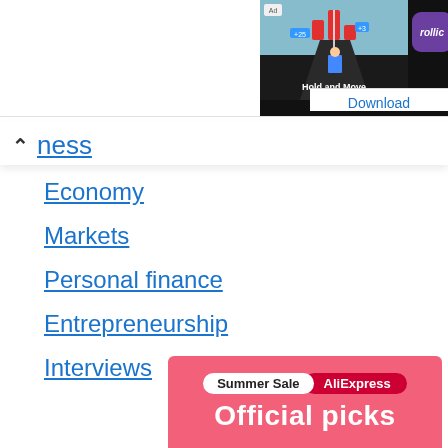[Figure (screenshot): Ad banner showing a mobile game 'Hold and Move' with a purple Rollic app icon and 'The' text partially visible]
Download
ness
Economy
Markets
Personal finance
Entrepreneurship
Interviews
[Figure (screenshot): AliExpress Summer Sale advertisement banner with 'Summer Sale AliExpress' badge and 'Official picks' text on pink/coral background]